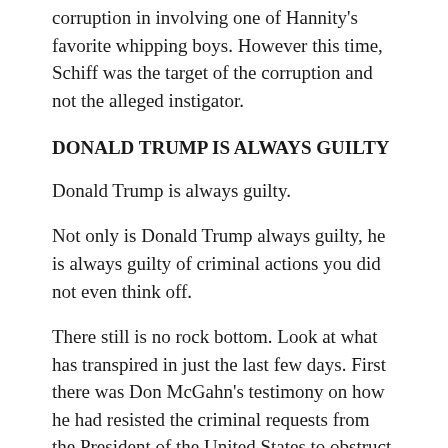corruption in involving one of Hannity's favorite whipping boys. However this time, Schiff was the target of the corruption and not the alleged instigator.
DONALD TRUMP IS ALWAYS GUILTY
Donald Trump is always guilty.
Not only is Donald Trump always guilty, he is always guilty of criminal actions you did not even think off.
There still is no rock bottom. Look at what has transpired in just the last few days. First there was Don McGahn’s testimony on how he had resisted the criminal requests from the President of the United States to obstruct a criminal investigation by the DOJ. No sooner had you caught your breath than the next bombshell hit. There really had been presidential